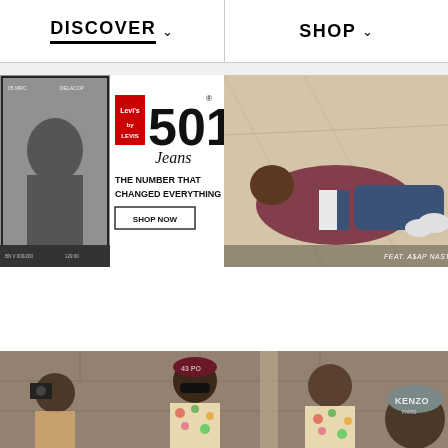DISCOVER  SHOP
[Figure (photo): Levi's 501 Jeans advertisement with black and white photo on left and 'THE NUMBER THAT CHANGED EVERYTHING - SHOP NOW' text, alongside a photo of A$AP Nast wearing denim lounging on the right]
[Figure (photo): Fashion editorial photo showing multiple male models wearing floral shirts and hats from Kenzo and other brands, against a stone wall backdrop]